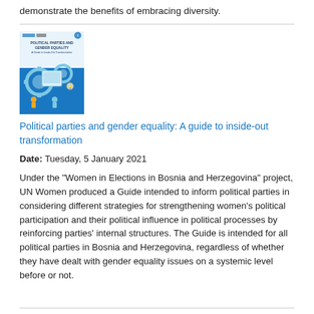demonstrate the benefits of embracing diversity.
[Figure (illustration): Book cover of 'Political parties and gender equality: A guide to inside-out transformation' showing gear icons and figures on a blue background with UN Women and partner logos.]
Political parties and gender equality: A guide to inside-out transformation
Date: Tuesday, 5 January 2021
Under the "Women in Elections in Bosnia and Herzegovina" project, UN Women produced a Guide intended to inform political parties in considering different strategies for strengthening women's political participation and their political influence in political processes by reinforcing parties' internal structures. The Guide is intended for all political parties in Bosnia and Herzegovina, regardless of whether they have dealt with gender equality issues on a systemic level before or not.